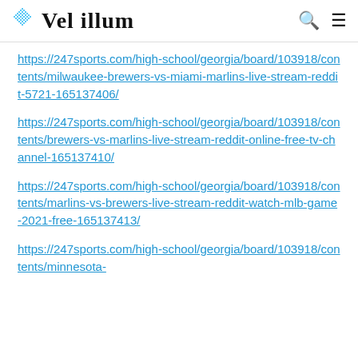Vel illum
https://247sports.com/high-school/georgia/board/103918/contents/milwaukee-brewers-vs-miami-marlins-live-stream-reddit-5721-165137406/
https://247sports.com/high-school/georgia/board/103918/contents/brewers-vs-marlins-live-stream-reddit-online-free-tv-channel-165137410/
https://247sports.com/high-school/georgia/board/103918/contents/marlins-vs-brewers-live-stream-reddit-watch-mlb-game-2021-free-165137413/
https://247sports.com/high-school/georgia/board/103918/contents/minnesota-